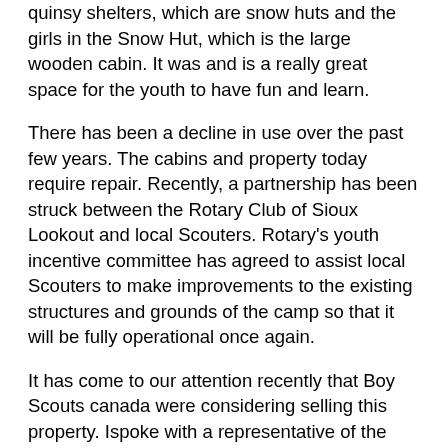quinsy shelters, which are snow huts and the girls in the Snow Hut, which is the large wooden cabin. It was and is a really great space for the youth to have fun and learn.
There has been a decline in use over the past few years. The cabins and property today require repair. Recently, a partnership has been struck between the Rotary Club of Sioux Lookout and local Scouters. Rotary's youth incentive committee has agreed to assist local Scouters to make improvements to the existing structures and grounds of the camp so that it will be fully operational once again.
It has come to our attention recently that Boy Scouts canada were considering selling this property. Ispoke with a representative of the national office this week who informed me that the property is not .listed at present.. He would not state that the property would not be sold in the future. This is not the first time that scouts canada has tried to sell the property.
As you may have read in news reports over the